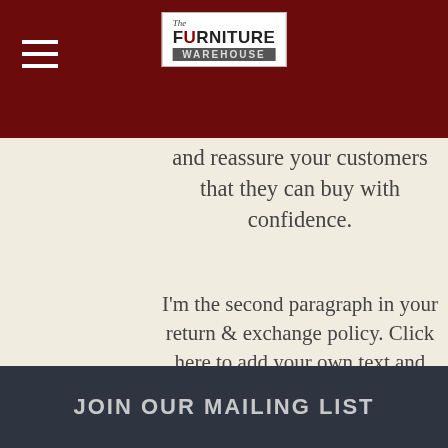[Figure (logo): The Furniture Warehouse logo in white box with dark maroon header background and hamburger menu icon]
and reassure your customers that they can buy with confidence.
I'm the second paragraph in your return & exchange policy. Click here to add your own text and edit me. It's easy. Just click “Edit Text” or double click me to add details about your policy and make changes to the font. I’m a great place for you to tell a story and let your users know a little more about you.
JOIN OUR MAILING LIST